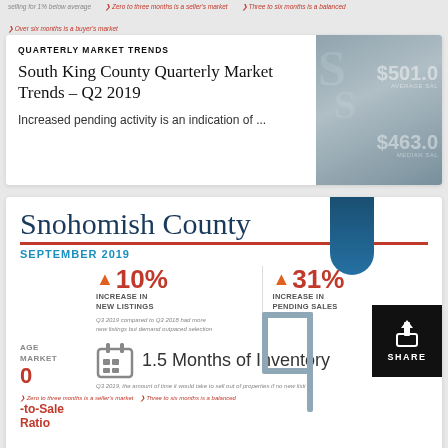selling for 1% below average | Zero to three months is a seller's market | Three to six months is a balanced | Over six months is a buyer's market
QUARTERLY MARKET TRENDS
South King County Quarterly Market Trends – Q2 2019
Increased pending activity is an indication of ...
[Figure (infographic): Snohomish County September 2019 market statistics infographic showing 10% increase in new listings, 31% increase in pending sales, 1.5 months of inventory]
Snohomish County
SEPTEMBER 2019
10% INCREASE IN NEW LISTINGS
31% INCREASE IN PENDING SALES
Q3 2019 compared to Q3 2018 had more new listings but demand outpaced selection
1.5 Months of Inventory
Q3 2019, the amount of time it would take to sell out of properties if no new listi
Zero to three months is a seller's market | Three to six months is a balanced